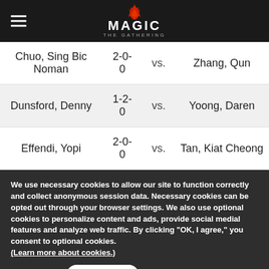Magic: The Gathering
| Player | Score | vs. | Opponent |
| --- | --- | --- | --- |
| Chuo, Sing Bic Noman | 2-0-0 | vs. | Zhang, Qun |
| Dunsford, Denny | 1-2-0 | vs. | Yoong, Daren |
| Effendi, Yopi | 2-0-0 | vs. | Tan, Kiat Cheong |
We use necessary cookies to allow our site to function correctly and collect anonymous session data. Necessary cookies can be opted out through your browser settings. We also use optional cookies to personalize content and ads, provide social medial features and analyze web traffic. By clicking “OK, I agree,” you consent to optional cookies. (Learn more about cookies.)
OK, I agree  No, thanks